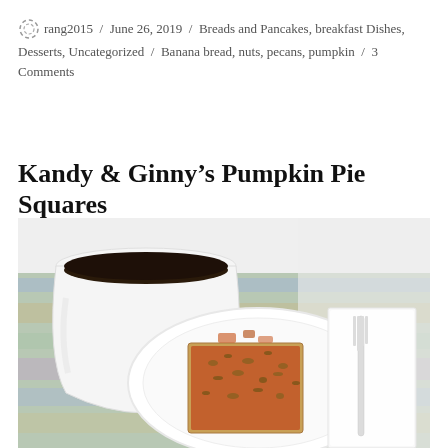rang2015 / June 26, 2019 / Breads and Pancakes, breakfast Dishes, Desserts, Uncategorized / Banana bread, nuts, pecans, pumpkin / 3 Comments
Kandy & Ginny’s Pumpkin Pie Squares
[Figure (photo): A white plate with a square piece of pumpkin pie topped with chopped nuts, alongside a white styrofoam cup of black coffee and a plastic fork on a napkin, placed on a colorful placemat.]